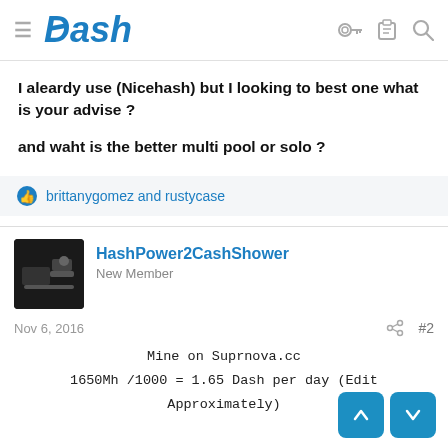Dash
I aleardy use (Nicehash) but I looking to best one what is your advise ?

and waht is the better multi pool or solo ?
brittanygomez and rustycase
HashPower2CashShower
New Member
Nov 6, 2016   #2
Mine on Suprnova.cc
1650Mh /1000 = 1.65 Dash per day (Edit Approximately)